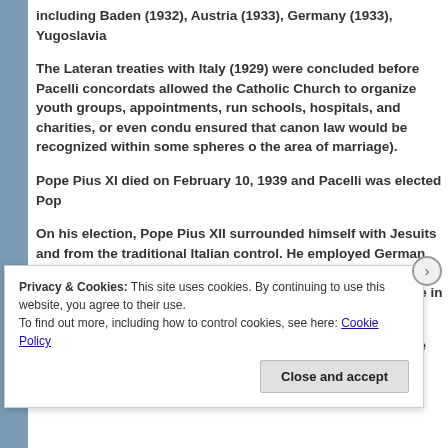including Baden (1932), Austria (1933), Germany (1933), Yugoslavia
The Lateran treaties with Italy (1929) were concluded before Pacelli concordats allowed the Catholic Church to organize youth groups, appointments, run schools, hospitals, and charities, or even condu ensured that canon law would be recognized within some spheres of the area of marriage).
Pope Pius XI died on February 10, 1939 and Pacelli was elected Pop
On his election, Pope Pius XII surrounded himself with Jesuits and from the traditional Italian control. He employed German and Dutch Augustin Bea, and Sebastian Tromp. He also supported the elevatio Spellman from a minor to a major role in the Church.
During the Word War II it is noted that Pope Pius XII used the pheno
Privacy & Cookies: This site uses cookies. By continuing to use this website, you agree to their use.
To find out more, including how to control cookies, see here: Cookie Policy
Close and accept